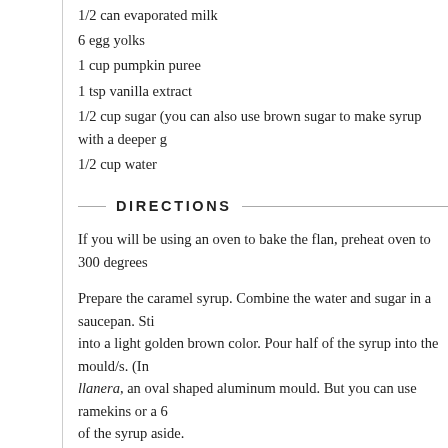1/2 can evaporated milk
6 egg yolks
1 cup pumpkin puree
1 tsp vanilla extract
1/2 cup sugar (you can also use brown sugar to make syrup with a deeper g
1/2 cup water
DIRECTIONS
If you will be using an oven to bake the flan, preheat oven to 300 degrees
Prepare the caramel syrup. Combine the water and sugar in a saucepan. Sti into a light golden brown color. Pour half of the syrup into the mould/s. (In llanera, an oval shaped aluminum mould. But you can use ramekins or a 6 of the syrup aside.
In a mixing bowl, combine the egg yolks, evaporated milk, condensed mil puree, and vanilla extract. Stir together until well blended.
Pour the mixture into your mould or baking dish and cover with foil. If yo it for 20 minutes.
If you are using an oven, place the baking dish in a larger roasting pan, anc